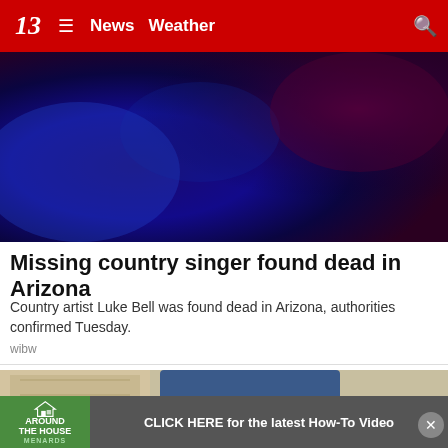13 News Weather
[Figure (photo): Dark blue and purple gradient background photo, appears to be emergency or news related lighting]
Missing country singer found dead in Arizona
Country artist Luke Bell was found dead in Arizona, authorities confirmed Tuesday.
wibw
[Figure (photo): Close-up photo of a person wearing jeans and gray sandal shoes, walking on a surface]
[Figure (other): Around the House Menards advertisement banner with text: CLICK HERE for the latest How-To Video]